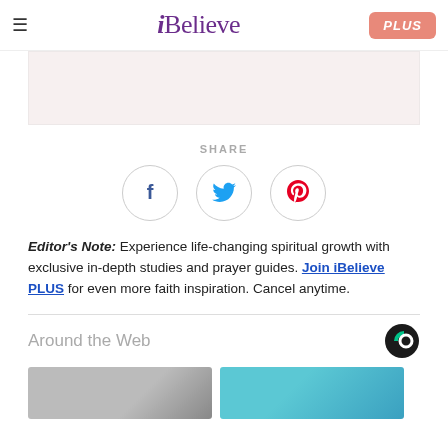iBelieve | PLUS
[Figure (other): Light pink/beige advertisement block]
SHARE
[Figure (other): Three social share icons in circles: Facebook (f), Twitter (bird), Pinterest (p)]
Editor's Note: Experience life-changing spiritual growth with exclusive in-depth studies and prayer guides. Join iBelieve PLUS for even more faith inspiration. Cancel anytime.
Around the Web
[Figure (other): Two thumbnail images side by side below Around the Web section]